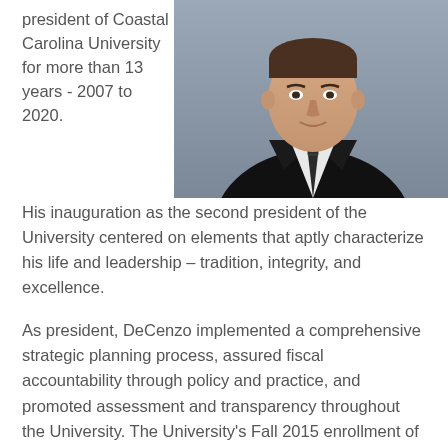president of Coastal Carolina University for more than 13 years - 2007 to 2020. His inauguration as the second president of the University centered on elements that aptly characterize his life and leadership – tradition, integrity, and excellence.
[Figure (photo): Professional headshot of a man in a black suit and striped tie against a grey background]
As president, DeCenzo implemented a comprehensive strategic planning process, assured fiscal accountability through policy and practice, and promoted assessment and transparency throughout the University. The University's Fall 2015 enrollment of more than 10,000 students reflects a more than 26 percent increase since 2007. The Board of Trustees has adopted a Campus...